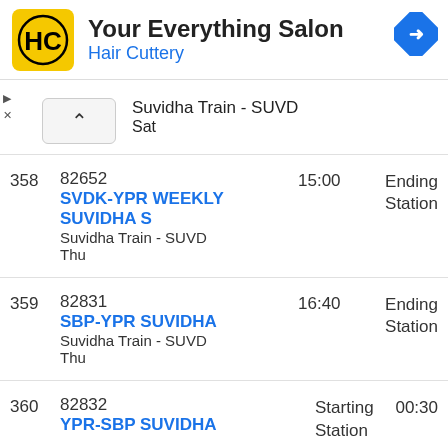[Figure (logo): Hair Cuttery advertisement banner with HC logo, 'Your Everything Salon' title, and 'Hair Cuttery' subtitle in blue, with blue navigation arrow icon on right]
| # | Train | Time | Status |
| --- | --- | --- | --- |
|  | Suvidha Train - SUVD
Sat |  |  |
| 358 | 82652
SVDK-YPR WEEKLY SUVIDHA S
Suvidha Train - SUVD
Thu | 15:00 | Ending Station |
| 359 | 82831
SBP-YPR SUVIDHA
Suvidha Train - SUVD
Thu | 16:40 | Ending Station |
| 360 | 82832
YPR-SBP SUVIDHA | Starting Station | 00:30 |